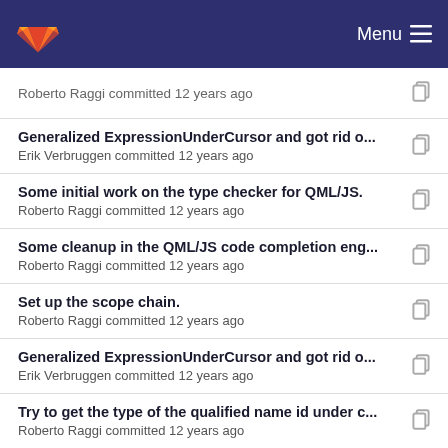Menu
Roberto Raggi committed 12 years ago
Generalized ExpressionUnderCursor and got rid o...
Erik Verbruggen committed 12 years ago
Some initial work on the type checker for QML/JS.
Roberto Raggi committed 12 years ago
Some cleanup in the QML/JS code completion eng...
Roberto Raggi committed 12 years ago
Set up the scope chain.
Roberto Raggi committed 12 years ago
Generalized ExpressionUnderCursor and got rid o...
Erik Verbruggen committed 12 years ago
Try to get the type of the qualified name id under c...
Roberto Raggi committed 12 years ago
Show the function arguments hint.
Roberto Raggi committed 12 years ago